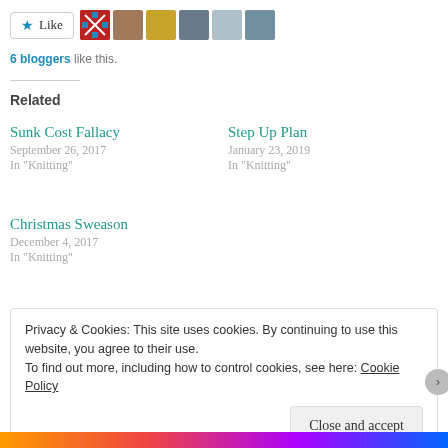[Figure (other): Like button with star icon and 6 blogger avatar images]
6 bloggers like this.
Related
Sunk Cost Fallacy
September 26, 2017
In "Knitting"
Step Up Plan
January 23, 2019
In "Knitting"
Christmas Sweason
December 4, 2017
In "Knitting"
Privacy & Cookies: This site uses cookies. By continuing to use this website, you agree to their use.
To find out more, including how to control cookies, see here: Cookie Policy
Close and accept